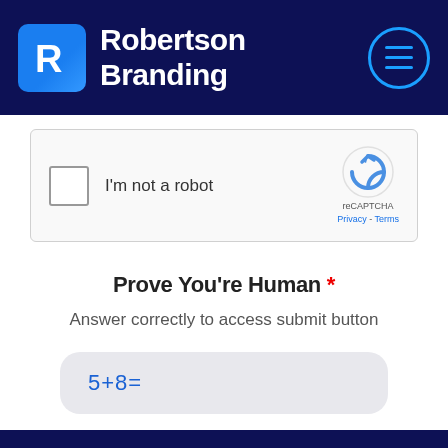[Figure (logo): Robertson Branding logo with blue 'R' icon and hamburger menu button on dark navy header]
[Figure (other): reCAPTCHA widget with checkbox labeled 'I'm not a robot' and reCAPTCHA logo with Privacy - Terms links]
Prove You're Human *
Answer correctly to access submit button
5+8=